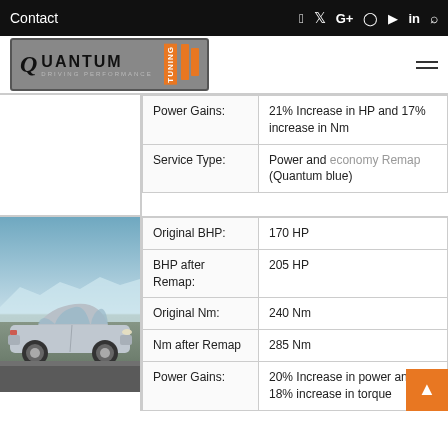Contact
[Figure (logo): Quantum Tuning Driving Performance logo]
| Field | Value |
| --- | --- |
| Power Gains: | 21% Increase in HP and 17% increase in Nm |
| Service Type: | Power and economy Remap (Quantum blue) |
[Figure (photo): Silver VW Golf hatchback side view against icy/snowy landscape background]
| Field | Value |
| --- | --- |
| Original BHP: | 170 HP |
| BHP after Remap: | 205 HP |
| Original Nm: | 240 Nm |
| Nm after Remap | 285 Nm |
| Power Gains: | 20% Increase in power and 18% increase in torque |